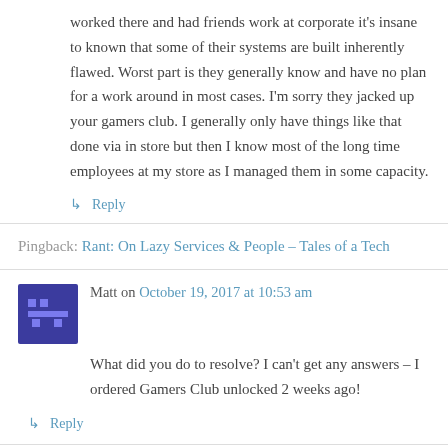worked there and had friends work at corporate it's insane to known that some of their systems are built inherently flawed. Worst part is they generally know and have no plan for a work around in most cases. I'm sorry they jacked up your gamers club. I generally only have things like that done via in store but then I know most of the long time employees at my store as I managed them in some capacity.
↳ Reply
Pingback: Rant: On Lazy Services & People – Tales of a Tech
Matt on October 19, 2017 at 10:53 am
What did you do to resolve? I can't get any answers – I ordered Gamers Club unlocked 2 weeks ago!
↳ Reply
Mike. S. on October 19, 2017 at 11:00 am
+ Follow